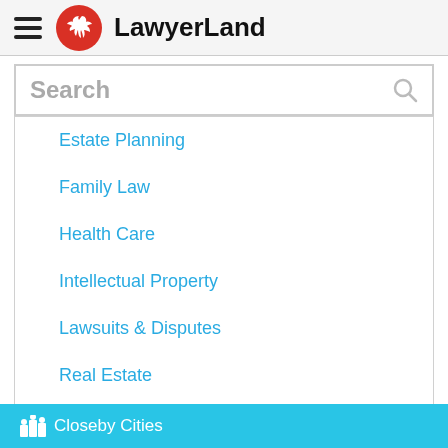LawyerLand
Search
Estate Planning
Family Law
Health Care
Intellectual Property
Lawsuits & Disputes
Real Estate
Closeby Cities